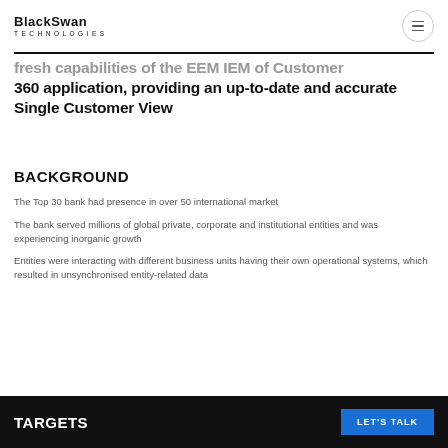BlackSwan TECHNOLOGIES
fresh capabilities of the EEM IEM of Customer 360 application, providing an up-to-date and accurate Single Customer View
BACKGROUND
The Top 30 bank had presence in over 50 international market
The bank served millions of global private, corporate and institutional entities and was experiencing inorganic growth
Entities were interacting with different business units having their own operational systems, which resulted in unsynchronised entity-related data
TARGETS   LET'S TALK